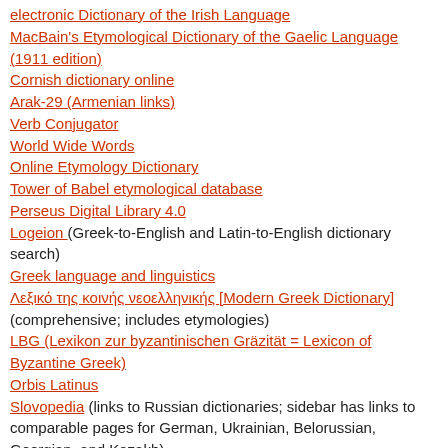electronic Dictionary of the Irish Language
MacBain's Etymological Dictionary of the Gaelic Language (1911 edition)
Cornish dictionary online
Arak-29 (Armenian links)
Verb Conjugator
World Wide Words
Online Etymology Dictionary
Tower of Babel etymological database
Perseus Digital Library 4.0
Logeion (Greek-to-English and Latin-to-English dictionary search)
Greek language and linguistics
Λεξικό της κοινής νεοελληνικής [Modern Greek Dictionary] (comprehensive; includes etymologies)
LBG (Lexikon zur byzantinischen Gräzität = Lexicon of Byzantine Greek)
Orbis Latinus
Slovopedia (links to Russian dictionaries; sidebar has links to comparable pages for German, Ukrainian, Belorussian, Georgian, and Kazakh)